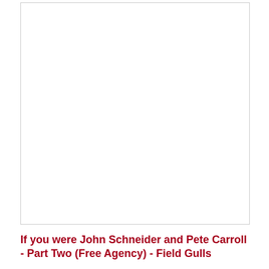[Figure (other): Blank white image area with border]
If you were John Schneider and Pete Carroll - Part Two (Free Agency) - Field Gulls